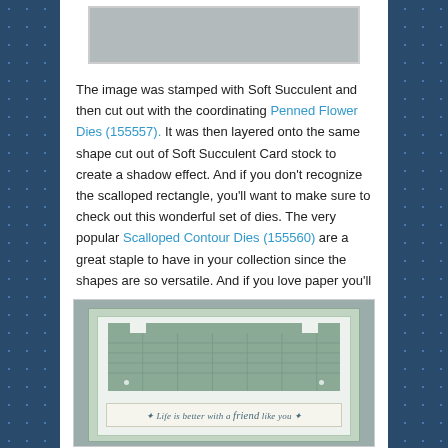[Figure (photo): Top portion of a card craft photo showing a gray/silver background, partially visible at the top of the page]
The image was stamped with Soft Succulent and then cut out with the coordinating Penned Flower Dies (155557). It was then layered onto the same shape cut out of Soft Succulent Card stock to create a shadow effect. And if you don't recognize the scalloped rectangle, you'll want to make sure to check out this wonderful set of dies. The very popular Scalloped Contour Dies (155560) are a great staple to have in your collection since the shapes are so versatile. And if you love paper you'll want to take a look at this next card.
[Figure (photo): A handmade greeting card with sage green and cream layers, a scalloped/notched top border design, a patterned background with diamond/cross-hatch design, and a sentiment strip reading 'Life is better with a friend like you']